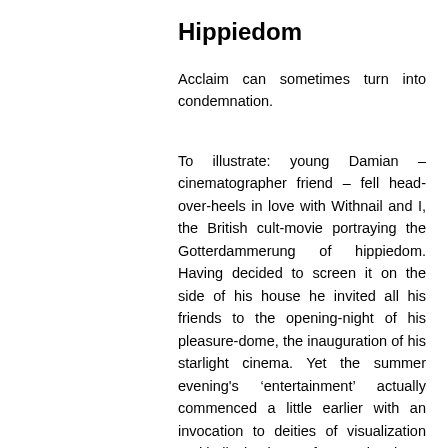Hippiedom
Acclaim can sometimes turn into condemnation.
To illustrate: young Damian – cinematographer friend – fell head-over-heels in love with Withnail and I, the British cult-movie portraying the Gotterdammerung of hippiedom. Having decided to screen it on the side of his house he invited all his friends to the opening-night of his pleasure-dome, the inauguration of his starlight cinema. Yet the summer evening's ‘entertainment’ actually commenced a little earlier with an invocation to deities of visualization and hallucination. Before turning the